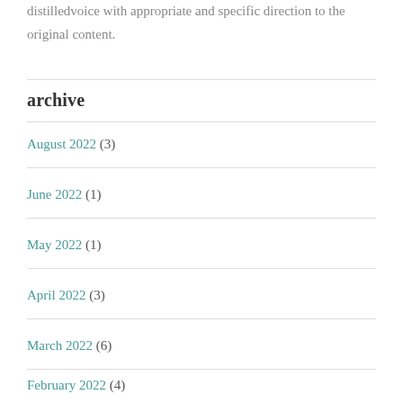distilledvoice with appropriate and specific direction to the original content.
archive
August 2022 (3)
June 2022 (1)
May 2022 (1)
April 2022 (3)
March 2022 (6)
February 2022 (4)